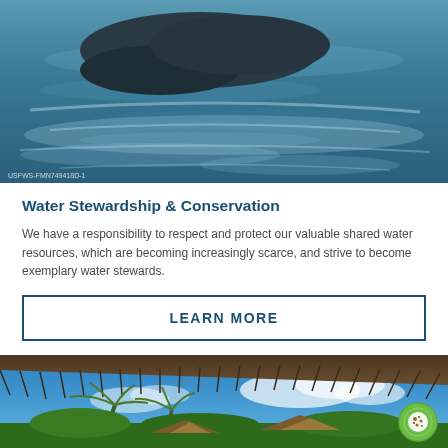[Figure (photo): Close-up of a manatee or marine animal partially submerged in blue-green water with ripples]
Water Stewardship & Conservation
We have a responsibility to respect and protect our valuable shared water resources, which are becoming increasingly scarce, and strive to become exemplary water stewards.
LEARN MORE
[Figure (photo): Tropical resort scene with palm trees, thatched roof huts, and a bright blue sky with white clouds]